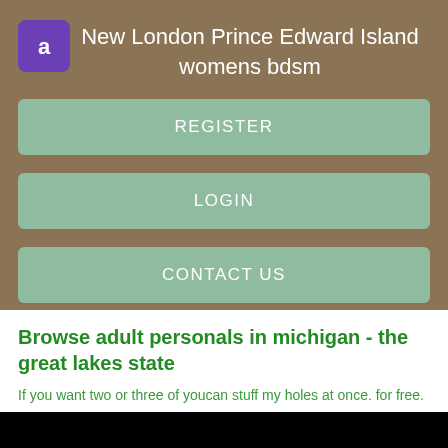New London Prince Edward Island womens bdsm
REGISTER
LOGIN
CONTACT US
Browse adult personals in michigan - the great lakes state
If you want two or three of youcan stuff my holes at once. for free.
[Figure (photo): Black image bar at the bottom of the page]